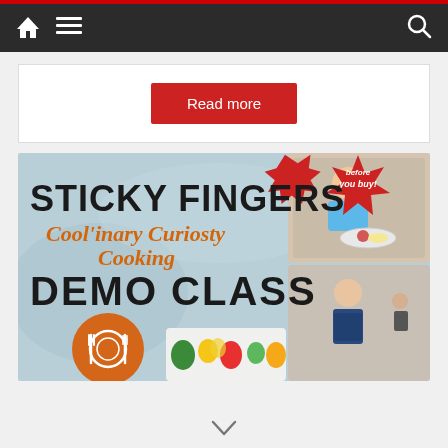Navigation bar with home, menu, and search icons
Read more
[Figure (photo): Sticky Fingers Cool'inary Curiosty Cooking Demo Class promotional banner with photos of children cooking and a plate of food icon]
chevron / navigation arrow at bottom